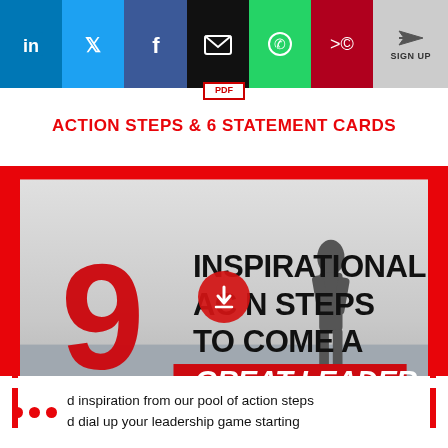[Figure (infographic): Social media sharing buttons row: LinkedIn (blue), Twitter (light blue), Facebook (dark blue), Email (black), WhatsApp (green), More (dark red), Sign Up (gray with paper-plane icon)]
[Figure (infographic): PDF icon in red border box]
ACTION STEPS & 6 STATEMENT CARDS
[Figure (infographic): Thumbnail image showing '9 INSPIRATIONAL ACTION STEPS TO BECOME A GREAT LEADER' with a large red '9', bold black text, red highlighted 'GREAT LEADER', and a silhouette figure against a grey sky background. Red border frame around thumbnail. Red circular download button overlay in center.]
d inspiration from our pool of action steps
d dial up your leadership game starting